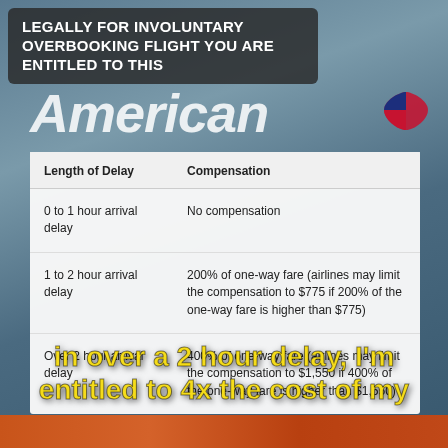LEGALLY FOR INVOLUNTARY OVERBOOKING FLIGHT YOU ARE ENTITLED TO THIS
| Length of Delay | Compensation |
| --- | --- |
| 0 to 1 hour arrival delay | No compensation |
| 1 to 2 hour arrival delay | 200% of one-way fare (airlines may limit the compensation to $775 if 200% of the one-way fare is higher than $775) |
| Over 2 hour arrival delay | 400% of one-way fare (airlines may limit the compensation to $1,550 if 400% of the one-way fare is higher than $1,550) |
in over a 2 hour delay, I'm entitled to 4x the cost of my